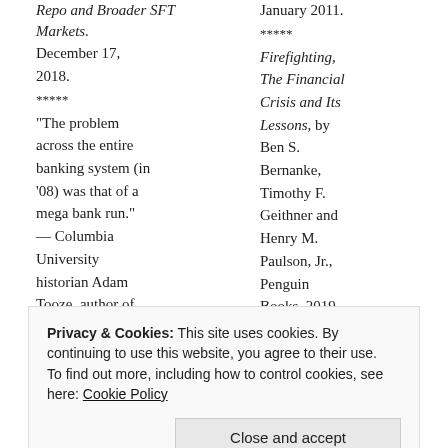Repo and Broader SFT Markets. December 17, 2018.
*****
“The problem across the entire banking system (in ’08) was that of a mega bank run.” — Columbia University historian Adam Tooze, author of Crashed. September 25, 2018.
*****
January 2011.
*****
Firefighting, The Financial Crisis and Its Lessons, by Ben S. Bernanke, Timothy F. Geithner and Henry M. Paulson, Jr., Penguin Books, 2019.
*****
House of Cards, by William D.
Privacy & Cookies: This site uses cookies. By continuing to use this website, you agree to their use. To find out more, including how to control cookies, see here: Cookie Policy
Close and accept
of particular concern were
Roger